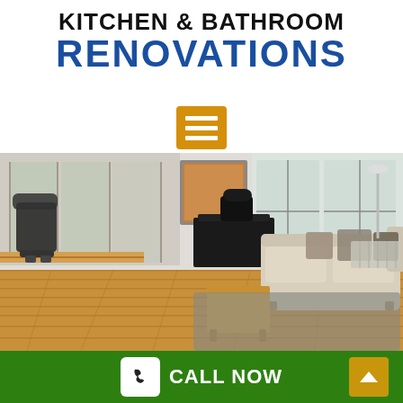KITCHEN & BATHROOM RENOVATIONS
[Figure (illustration): Menu/hamburger icon — three white horizontal lines on a gold/amber background square]
[Figure (photo): Interior photo of a modern living room with hardwood floors, white sofa with decorative pillows, small wooden coffee table, dark desk/cabinet, black recliner chair in background, large windows with natural light, and a framed artwork on the wall]
CALL NOW